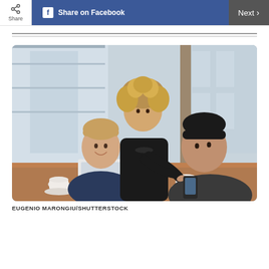Share | Share on Facebook | Next >
[Figure (photo): Three business people around a laptop at a cafe table. A woman with curly hair stands and points at the screen while two men sit. Coffee cups on the table, modern building visible through window behind them.]
EUGENIO MARONGIU/SHUTTERSTOCK